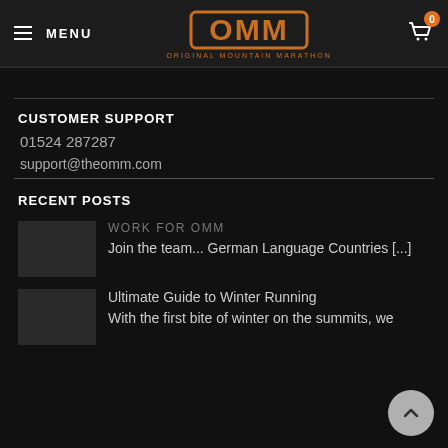MENU  OMM ORIGINAL MOUNTAIN MARATHON  0
CUSTOMER SUPPORT
01524 287287
support@theomm.com
RECENT POSTS
WORK FOR OMM
Join the team... German Language Countries [...]
Ultimate Guide to Winter Running
With the first bite of winter on the summits, we